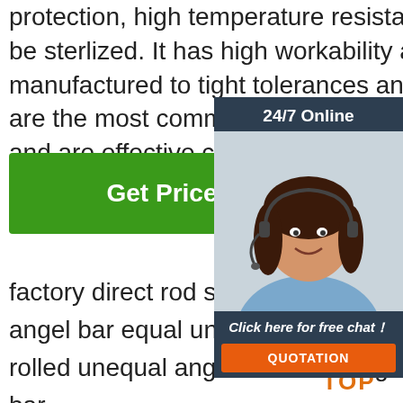protection, high temperature resistance and the ability to be sterlized. It has high workability and can be manufactured to tight tolerances and welded. These alloys are the most commonly used of the stainless steel alloys and are effective choice for most applications.
[Figure (infographic): 24/7 Online chat widget with photo of a female customer service representative wearing a headset, smiling. Below the photo: 'Click here for free chat!' text and an orange QUOTATION button.]
Get Price
factory direct rod stainless steel indi...
angel bar equal unequal angle steel...
rolled unequal angle bar steel angle steel bar
dongsui car accessories hot sale steel bumper bull bar nudge bar light ford ranger
[Figure (logo): TOP logo with orange dot-triangle design above the word TOP in orange bold letters]